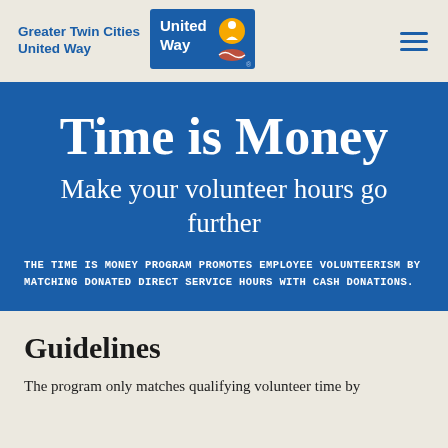Greater Twin Cities United Way
[Figure (logo): United Way logo — blue rectangle with 'United Way' text and organization icon]
Time is Money
Make your volunteer hours go further
THE TIME IS MONEY PROGRAM PROMOTES EMPLOYEE VOLUNTEERISM BY MATCHING DONATED DIRECT SERVICE HOURS WITH CASH DONATIONS.
Guidelines
The program only matches qualifying volunteer time by